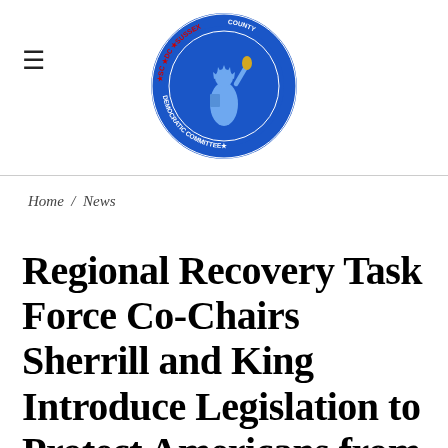[Figure (logo): Sussex County DC Democratic Committee circular logo featuring the Statue of Liberty in blue, with text around the border reading 'SC DC SUSSEX COUNTY DEMOCRATIC COMMITTEE' and red stars]
≡   [Sussex County DC Democratic Committee Logo]
Home / News
Regional Recovery Task Force Co-Chairs Sherrill and King Introduce Legislation to Protect Americans from COVID-19 Scam